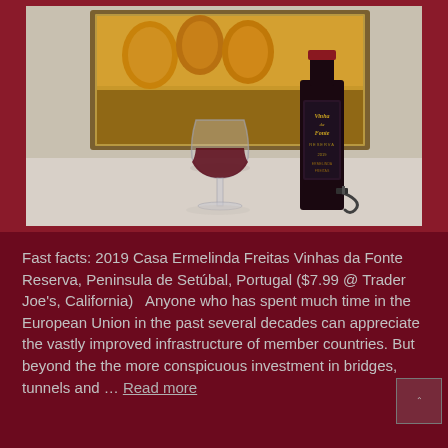[Figure (photo): Photo of a wine glass with red wine and a bottle of 2019 Casa Ermelinda Freitas Vinhas da Fonte Reserva (Vinha da Fonte label visible), placed on a table in front of a framed still-life painting showing pears and fruit. A corkscrew is visible near the bottle.]
Fast facts: 2019 Casa Ermelinda Freitas Vinhas da Fonte Reserva, Peninsula de Setúbal, Portugal  ($7.99 @ Trader Joe's, California)   Anyone who has spent much time in the European Union in the past several decades can appreciate the vastly improved infrastructure of member countries.  But beyond the the more conspicuous investment in bridges, tunnels and … Read more